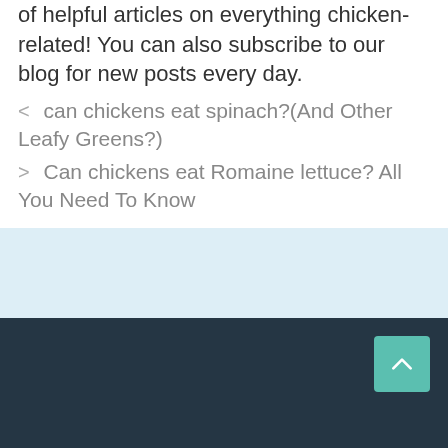of helpful articles on everything chicken-related! You can also subscribe to our blog for new posts every day.
< can chickens eat spinach?(And Other Leafy Greens?)
> Can chickens eat Romaine lettuce? All You Need To Know
[Figure (other): Light blue background section]
Dark footer with back-to-top button